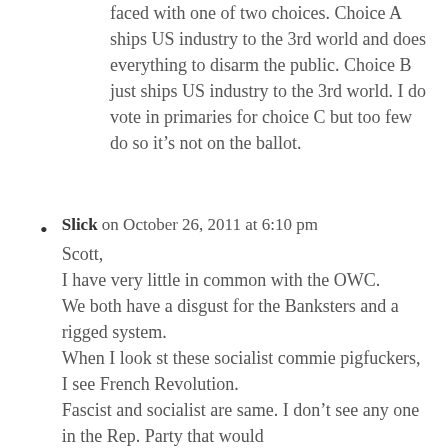faced with one of two choices. Choice A ships US industry to the 3rd world and does everything to disarm the public. Choice B just ships US industry to the 3rd world. I do vote in primaries for choice C but too few do so it's not on the ballot.
Slick on October 26, 2011 at 6:10 pm
Scott,
I have very little in common with the OWC.
We both have a disgust for the Banksters and a rigged system.
When I look st these socialist commie pigfuckers, I see French Revolution.
Fascist and socialist are same. I don't see any one in the Rep. Party that would
Do anything more than pull us closer to center( but